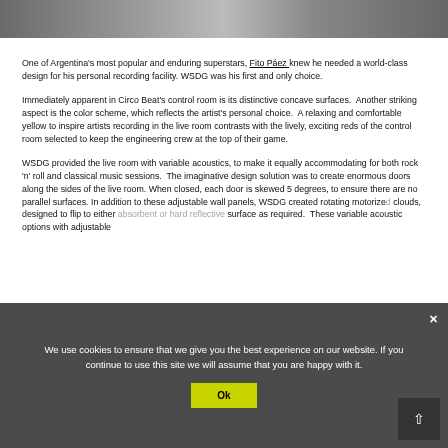[Figure (photo): Top portion of a photo showing what appears to be a recording studio or workspace, partially visible at the top of the page.]
One of Argentina's most popular and enduring superstars, Fito Páez knew he needed a world-class design for his personal recording facility. WSDG was his first and only choice.
Immediately apparent in Circo Beat's control room is its distinctive concave surfaces.  Another striking aspect is the color scheme, which reflects the artist's personal choice.  A relaxing and comfortable yellow to inspire artists recording in the live room contrasts with the lively, exciting reds of the control room selected to keep the engineering crew at the top of their game.
WSDG provided the live room with variable acoustics, to make it equally accommodating for both rock 'n' roll and classical music sessions.  The imaginative design solution was to create enormous doors along the sides of the live room. When closed, each door is skewed 5 degrees, to ensure there are no parallel surfaces. In addition to these adjustable wall panels, WSDG created rotating motorized clouds, designed to flip to either absorbent or hard reflective surface as required.  These variable acoustic options with adjustable